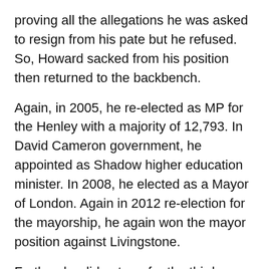proving all the allegations he was asked to resign from his pate but he refused. So, Howard sacked from his position then returned to the backbench.
Again, in 2005, he re-elected as MP for the Henley with a majority of 12,793. In David Cameron government, he appointed as Shadow higher education minister. In 2008, he elected as a Mayor of London. Again in 2012 re-election for the mayorship, he again won the mayor position against Livingstone.
Further, he did not run for the third mayor of London election and return to Parliament. In the 2015 general election, he elected as MP. In 2016, under PM Theresa May government, he appointed as Secretary of State for Foreign and Commonwealth Affairs. But in 2018, he resigned from his post and again returned to the backbench. In the same year,